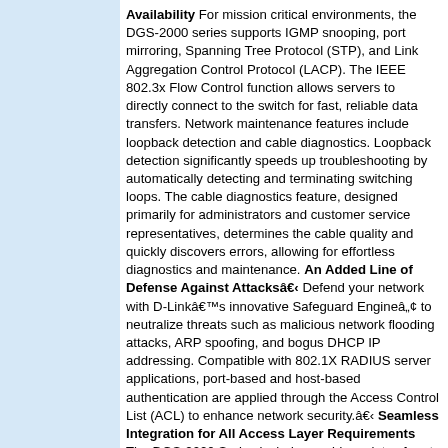Availability For mission critical environments, the DGS-2000 series supports IGMP snooping, port mirroring, Spanning Tree Protocol (STP), and Link Aggregation Control Protocol (LACP). The IEEE 802.3x Flow Control function allows servers to directly connect to the switch for fast, reliable data transfers. Network maintenance features include loopback detection and cable diagnostics. Loopback detection significantly speeds up troubleshooting by automatically detecting and terminating switching loops. The cable diagnostics feature, designed primarily for administrators and customer service representatives, determines the cable quality and quickly discovers errors, allowing for effortless diagnostics and maintenance. An Added Line of Defense Against Attacksâ€‹ Defend your network with D-Linkâ€™s innovative Safeguard Engineâ„¢ to neutralize threats such as malicious network flooding attacks, ARP spoofing, and bogus DHCP IP addressing. Compatible with 802.1X RADIUS server applications, port-based and host-based authentication are applied through the Access Control List (ACL) to enhance network security.â€‹ Seamless Integration for All Access Layer Requirements The DGS-2000 Series includes a wide variety of port and media types, including 10/100/1000BASE-T RJ-45 ports, 100/1000 Mbps GbE/SFP combo ports,